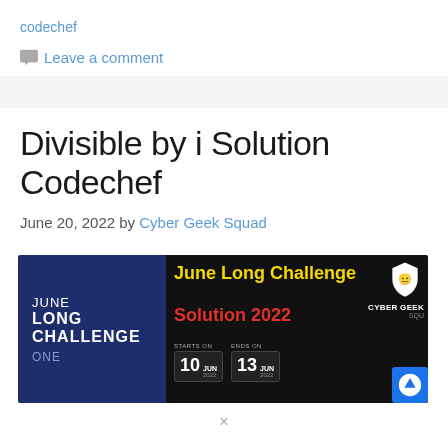codechef
Leave a comment
Divisible by i Solution Codechef
June 20, 2022 by Cyber Geek Squad
[Figure (screenshot): June Long Challenge Solution 2022 banner showing challenge starts on 10 JUN 2022, ends on 13 JUN 2022, with Cyber Geek Squad logo]
×